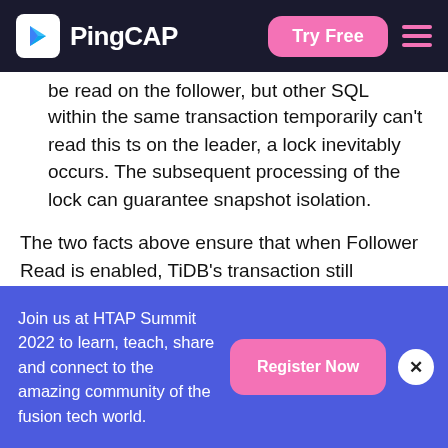PingCAP | Try Free
be read on the follower, but other SQL statements within the same transaction temporarily can't read this ts on the leader, a lock inevitably occurs. The subsequent processing of the lock can guarantee snapshot isolation.
The two facts above ensure that when Follower Read is enabled, TiDB's transaction still implements snapshot isolation. Thus, transaction correctness isn't affected.
Issue #2: read latency
Join us at HTAP Summit 2022 to learn, teach, share and connect to the amazing community of the fusion tech world.